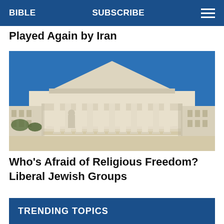BIBLE   SUBSCRIBE
Played Again by Iran
[Figure (photo): Photograph of the United States Supreme Court building facade, showing classical Greek-style columns, pediment with sculptural relief, and steps leading up to the entrance. Clear blue sky in background.]
Who’s Afraid of Religious Freedom? Liberal Jewish Groups
TRENDING TOPICS